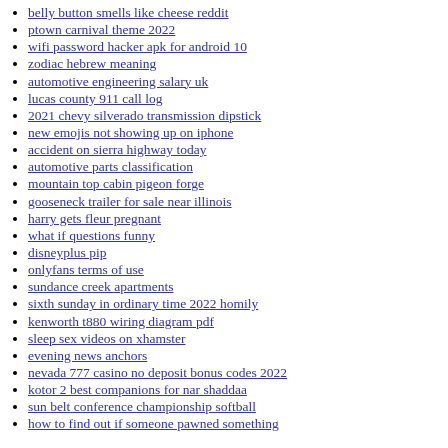belly button smells like cheese reddit
ptown carnival theme 2022
wifi password hacker apk for android 10
zodiac hebrew meaning
automotive engineering salary uk
lucas county 911 call log
2021 chevy silverado transmission dipstick
new emojis not showing up on iphone
accident on sierra highway today
automotive parts classification
mountain top cabin pigeon forge
gooseneck trailer for sale near illinois
harry gets fleur pregnant
what if questions funny
disneyplus pip
onlyfans terms of use
sundance creek apartments
sixth sunday in ordinary time 2022 homily
kenworth t880 wiring diagram pdf
sleep sex videos on xhamster
evening news anchors
nevada 777 casino no deposit bonus codes 2022
kotor 2 best companions for nar shaddaa
sun belt conference championship softball
how to find out if someone pawned something